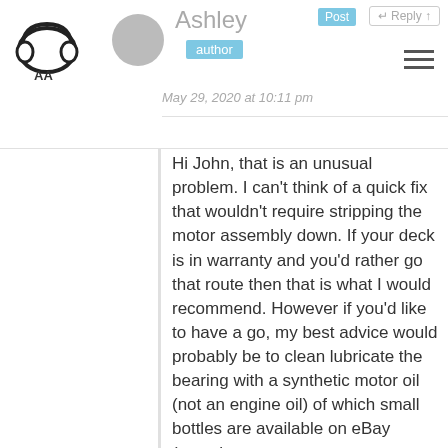Ashley | Post | author | May 29, 2020 at 10:11 pm | Reply
Hi John, that is an unusual problem. I can't think of a quick fix that wouldn't require stripping the motor assembly down. If your deck is in warranty and you'd rather go that route then that is what I would recommend. However if you'd like to have a go, my best advice would probably be to clean lubricate the bearing with a synthetic motor oil (not an engine oil) of which small bottles are available on eBay (search
Privacy & Cookies: This site uses cookies. By continuing to use this website, you agree to their use.
To find out more, including how to control cookies, see here:
Cookie Policy
Close and accept
two screws at the circuit board end